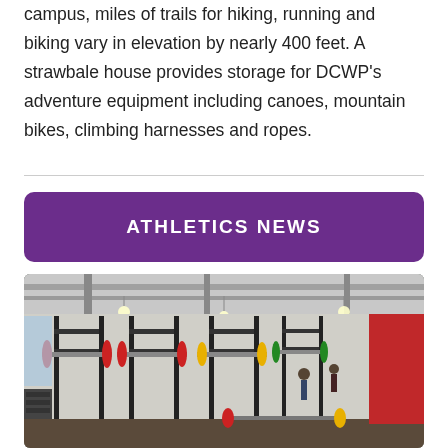campus, miles of trails for hiking, running and biking vary in elevation by nearly 400 feet. A strawbale house provides storage for DCWP's adventure equipment including canoes, mountain bikes, climbing harnesses and ropes.
ATHLETICS NEWS
[Figure (photo): Interior of a weight room/gym showing squat racks, barbells with colorful weight plates (red, yellow, green), dumbbells, and ceiling lights in a large open athletic facility.]